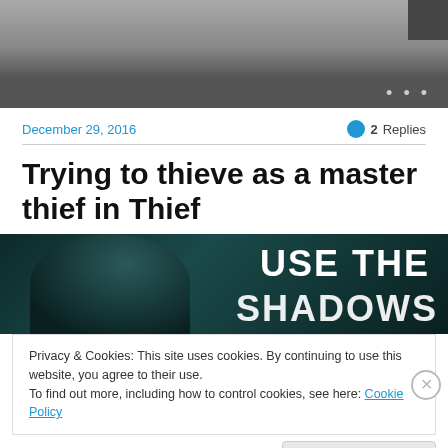[Figure (screenshot): Header image area with dark gradient and small thumbnail in upper right, with dark bar below containing three dots]
December 29, 2016
2 Replies
Trying to thieve as a master thief in Thief
[Figure (screenshot): Game screenshot showing a hooded figure with text 'USE THE SHADOWS' overlaid in large white block letters]
Privacy & Cookies: This site uses cookies. By continuing to use this website, you agree to their use.
To find out more, including how to control cookies, see here: Cookie Policy
Close and accept